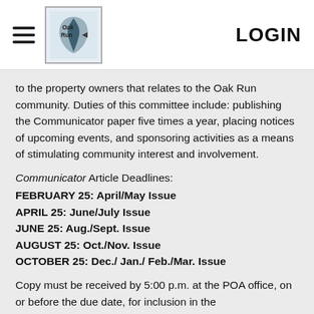[Figure (logo): Oak Run logo with leaf/map icon and text 'Oak Run']
LOGIN
to the property owners that relates to the Oak Run community. Duties of this committee include: publishing the Communicator paper five times a year, placing notices of upcoming events, and sponsoring activities as a means of stimulating community interest and involvement.
Communicator Article Deadlines:
FEBRUARY 25: April/May Issue
APRIL 25: June/July Issue
JUNE 25: Aug./Sept. Issue
AUGUST 25: Oct./Nov. Issue
OCTOBER 25: Dec./ Jan./ Feb./Mar. Issue
Copy must be received by 5:00 p.m. at the POA office, on or before the due date, for inclusion in the